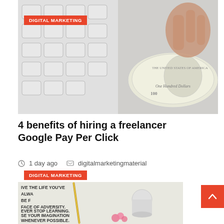[Figure (photo): Photo of a hand holding a $100 bill next to a computer keyboard on a white surface, with a 'DIGITAL MARKETING' orange badge overlay in top-left corner]
4 benefits of hiring a freelancer Google Pay Per Click
1 day ago   digitalmarketingmaterial
[Figure (photo): Partial photo showing motivational text on a book/journal with a gold pen and pink flower, with a 'DIGITAL MARKETING' orange badge overlay]